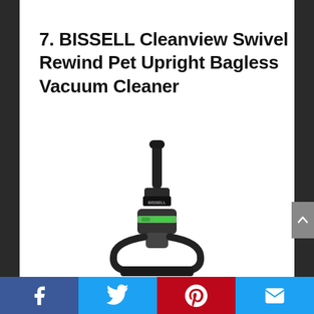7. BISSELL Cleanview Swivel Rewind Pet Upright Bagless Vacuum Cleaner
[Figure (photo): Front top-down view of a BISSELL Cleanview Swivel Rewind Pet Upright Bagless Vacuum Cleaner, black with green accents, showing the handle and upper body section against a white background.]